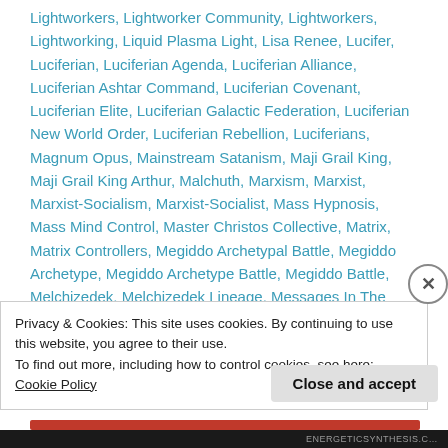Lightworkers, Lightworker Community, Lightworkers, Lightworking, Liquid Plasma Light, Lisa Renee, Lucifer, Luciferian, Luciferian Agenda, Luciferian Alliance, Luciferian Ashtar Command, Luciferian Covenant, Luciferian Elite, Luciferian Galactic Federation, Luciferian New World Order, Luciferian Rebellion, Luciferians, Magnum Opus, Mainstream Satanism, Maji Grail King, Maji Grail King Arthur, Malchuth, Marxism, Marxist, Marxist-Socialism, Marxist-Socialist, Mass Hypnosis, Mass Mind Control, Master Christos Collective, Matrix, Matrix Controllers, Megiddo Archetypal Battle, Megiddo Archetype, Megiddo Archetype Battle, Megiddo Battle, Melchizedek, Melchizedek Lineage, Messages In The
Privacy & Cookies: This site uses cookies. By continuing to use this website, you agree to their use.
To find out more, including how to control cookies, see here: Cookie Policy
Close and accept